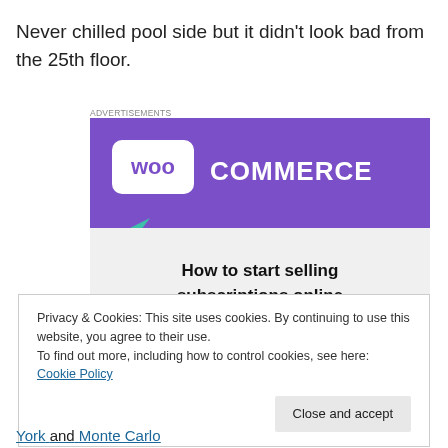Never chilled pool side but it didn't look bad from the 25th floor.
Advertisements
[Figure (screenshot): WooCommerce advertisement banner showing purple header with WooCommerce logo, teal and blue geometric shapes, and text 'How to start selling subscriptions online']
Privacy & Cookies: This site uses cookies. By continuing to use this website, you agree to their use.
To find out more, including how to control cookies, see here: Cookie Policy
Close and accept
York and Monte Carlo